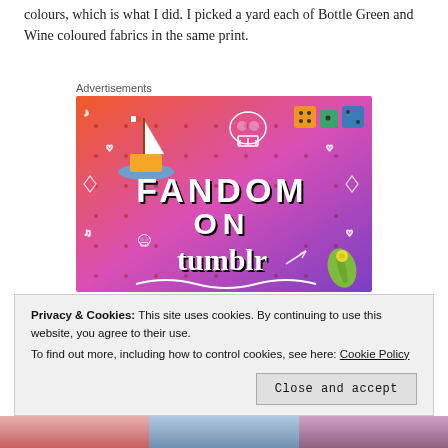colours, which is what I did.  I picked a yard each of Bottle Green and Wine coloured fabrics in the same print.
Advertisements
[Figure (illustration): A colorful advertisement for 'Fandom on tumblr' with an orange-to-purple gradient background and white doodle icons including a sailboat, skull, dice, and other fandom imagery.]
Privacy & Cookies: This site uses cookies. By continuing to use this website, you agree to their use.
To find out more, including how to control cookies, see here: Cookie Policy
Close and accept
[Figure (photo): Bottom strip showing partial images of people and colorful toys/crafts.]